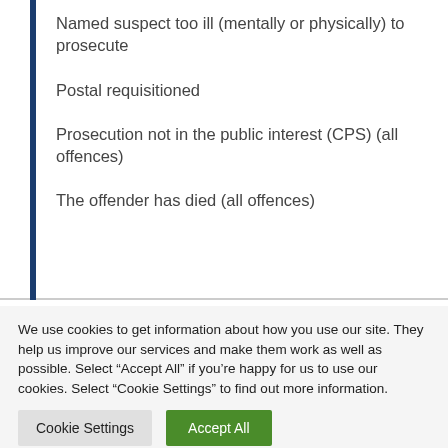Named suspect too ill (mentally or physically) to prosecute
Postal requisitioned
Prosecution not in the public interest (CPS) (all offences)
The offender has died (all offences)
We use cookies to get information about how you use our site. They help us improve our services and make them work as well as possible. Select “Accept All” if you’re happy for us to use our cookies. Select “Cookie Settings” to find out more information.